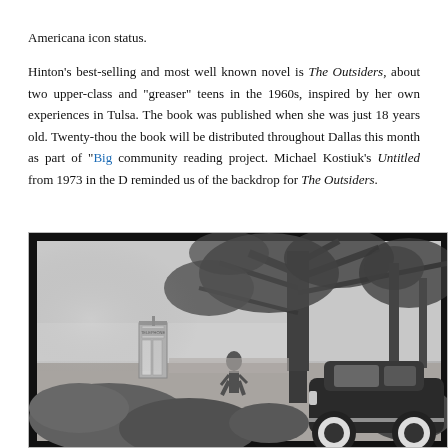Americana icon status.

Hinton's best-selling and most well known novel is The Outsiders, about two upper-class and "greaser" teens in the 1960s, inspired by her own experiences in Tulsa. The book was published when she was just 18 years old. Twenty-thou... the book will be distributed throughout Dallas this month as part of "Big..." community reading project. Michael Kostiuk's Untitled from 1973 in the D... reminded us of the backdrop for The Outsiders.
[Figure (photo): Black and white photograph (Michael Kostiuk's Untitled, 1973) showing a 1960s scene with a person walking near a phone booth, a large tree, and a vintage car with white wall tires in the foreground, surrounded by lush foliage.]